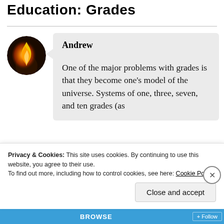Education: Grades
[Figure (photo): Circular avatar photo showing a flame/fire light against a dark background]
Andrew
One of the major problems with grades is that they become one’s model of the universe. Systems of one, three, seven, and ten grades (as
Privacy & Cookies: This site uses cookies. By continuing to use this website, you agree to their use.
To find out more, including how to control cookies, see here: Cookie Policy
Close and accept